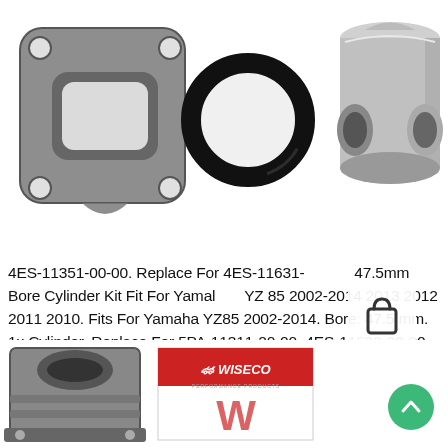[Figure (photo): Three product photos at top: a gray square gasket with rounded corners and four mounting holes, a circular black O-ring/seal, and a silver aluminum piston viewed from below showing wrist pin bosses.]
4ES-11351-00-00. Replace For 4ES-11631- 47.5mm Bore Cylinder Kit Fit For Yamaha YZ 85 2002-2014 2013 2012 2011 2010. Fits For Yamaha YZ85 2002-2014. Bore: 47.5 mm. 1x Cylinder. Replace For 5PA-11311-20-00. 4ES-11633-00-00. Replace For 43K-11611-00-00, 93450-16115-00.. ☒, 93210-56459-00. Replace For 93210-84724-00.
[Figure (photo): Shopping bag / cart icon overlay (white rounded square background with a simple shopping bag outline icon).]
[Figure (photo): Bottom row partial product photos: left shows a gray aluminum cylinder engine block; center shows a Wiseco branded product box with red/white logo.]
[Figure (other): Green circular scroll-to-top button with upward arrow in bottom right corner.]